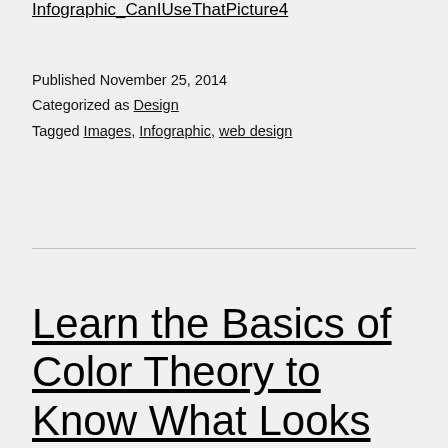Infographic_CanIUseThatPicture4
Published November 25, 2014
Categorized as Design
Tagged Images, Infographic, web design
Learn the Basics of Color Theory to Know What Looks Good